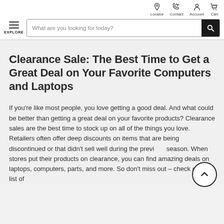Locator | Contact | Account | Cart
What are you looking for today?
Clearance Sale: The Best Time to Get a Great Deal on Your Favorite Computers and Laptops
If you're like most people, you love getting a good deal. And what could be better than getting a great deal on your favorite products? Clearance sales are the best time to stock up on all of the things you love. Retailers often offer deep discounts on items that are being discontinued or that didn't sell well during the previous season. When stores put their products on clearance, you can find amazing deals on laptops, computers, parts, and more. So don't miss out – check out our list of